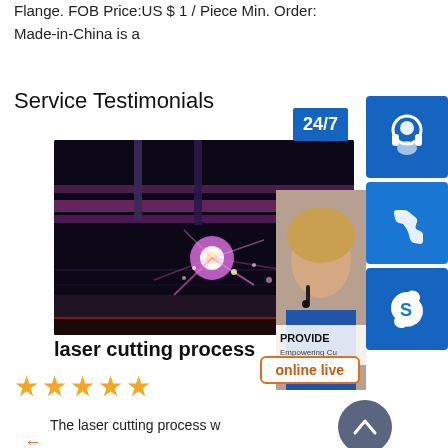Flange. FOB Price:US $ 1 / Piece Min. Order: Made-in-China is a
Service Testimonials
[Figure (photo): Laser cutting process photo showing bright purple/pink laser sparks on a metal sheet in an industrial setting]
laser cutting process
★★★★★
The laser cutting process w
[Figure (infographic): Right-side overlay panel with 24/7 badge, customer service headset icon, phone icon, Skype icon, online live button, woman with headset photo, PROVIDE Empowering Cu text, and scroll-to-top button]